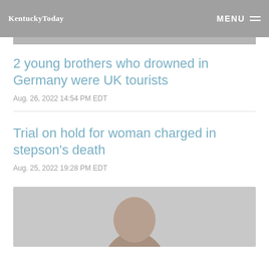KentuckyToday  MENU
2 young brothers who drowned in Germany were UK tourists
Aug. 26, 2022 14:54 PM EDT
Trial on hold for woman charged in stepson's death
Aug. 25, 2022 19:28 PM EDT
[Figure (photo): Partial photo of a bald man, cropped at chin level]